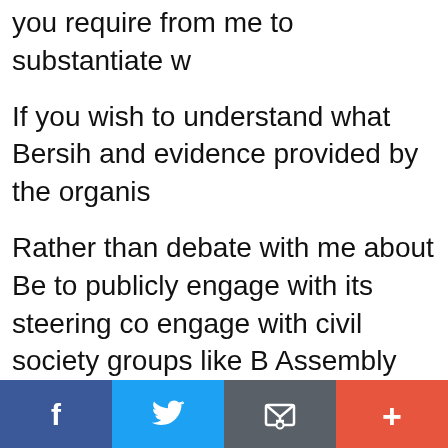you require from me to substantiate w
If you wish to understand what Bersih and evidence provided by the organis
Rather than debate with me about Be to publicly engage with its steering co engage with civil society groups like B Assembly Act 2012 to suppress civil di
I am aware that my actions have attra